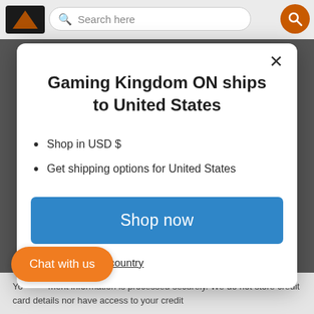[Figure (screenshot): Website header with search bar and orange search button on dark background]
Gaming Kingdom ON ships to United States
Shop in USD $
Get shipping options for United States
Shop now
Change shipping country
Chat with us
Your payment information is processed securely. We do not store credit card details nor have access to your credit